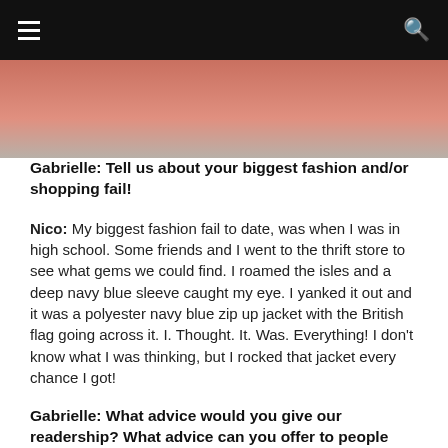☰   🔍
[Figure (photo): Cropped photo showing bottom portion of a person wearing a pink/coral top, partially visible against a light background.]
Gabrielle: Tell us about your biggest fashion and/or shopping fail!
Nico: My biggest fashion fail to date, was when I was in high school. Some friends and I went to the thrift store to see what gems we could find. I roamed the isles and a deep navy blue sleeve caught my eye. I yanked it out and it was a polyester navy blue zip up jacket with the British flag going across it. I. Thought. It. Was. Everything! I don't know what I was thinking, but I rocked that jacket every chance I got!
Gabrielle: What advice would you give our readership? What advice can you offer to people who fit outside of society's understanding of traditionally masculine and feminine styles?